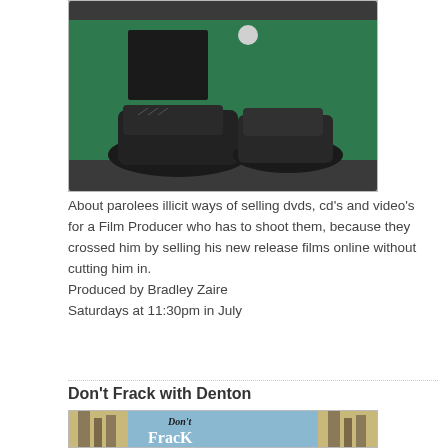[Figure (photo): Photo of sneakers/boots on a green surface with dark background and some items in background]
About parolees illicit ways of selling dvds, cd's and video's for a Film Producer who has to shoot them, because they crossed him by selling his new release films online without cutting him in.
Produced by Bradley Zaire
Saturdays at 11:30pm in July
Don't Frack with Denton
[Figure (photo): Movie/documentary poster showing text 'Don't FracK' with industrial structures in background]